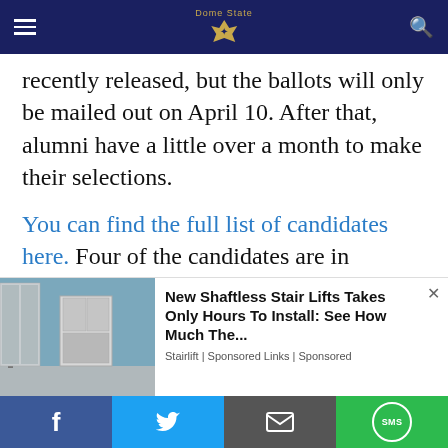Navigation bar with hamburger menu, logo/bird icon, and search icon
recently released, but the ballots will only be mailed out on April 10. After that, alumni have a little over a month to make their selections.
You can find the full list of candidates here. Four of the candidates are in banking and four are involved with law firms as either executives or attorneys. Two of the candidates are teachers, one being a professor emeritus at his own alma mater. One candidate is an orthopedic surgeon, and the last was formerly an assisting managing editor with the New...
[Figure (photo): Advertisement overlay showing a stair lift product image on the left with interior room background, and ad text on the right: 'New Shaftless Stair Lifts Takes Only Hours To Install: See How Much The...' from Stairlift | Sponsored Links | Sponsored]
Social sharing bar with Facebook, Twitter, Email, and SMS buttons